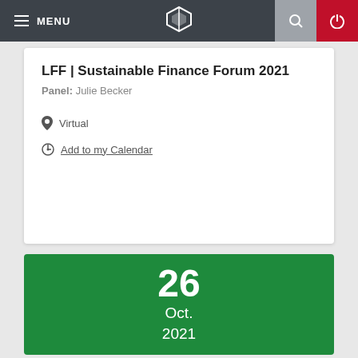MENU
LFF | Sustainable Finance Forum 2021
Panel: Julie Becker
Virtual
Add to my Calendar
26
Oct.
2021